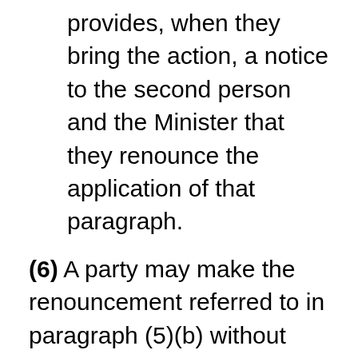provides, when they bring the action, a notice to the second person and the Minister that they renounce the application of that paragraph.
(6) A party may make the renouncement referred to in paragraph (5)(b) without prejudice to their right to proceed with the action or any other action for patent infringement or their entitlement to any remedy from the Federal Court or another court.
(7) A second person, or a first person or owner of a patent who receives a notice of allegation shall, on payment of the Minist...